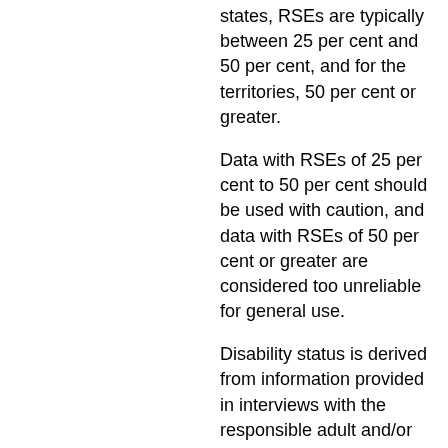states, RSEs are typically between 25 per cent and 50 per cent, and for the territories, 50 per cent or greater.
Data with RSEs of 25 per cent to 50 per cent should be used with caution, and data with RSEs of 50 per cent or greater are considered too unreliable for general use.
Disability status is derived from information provided in interviews with the responsible adult and/or the recipient of care. In a small number of cases (about 1 per cent in 2009), the primary carer indicated that he/she provided assistance with core activities because of the main recipient's condition(s), however the recipient did not have a reported disability